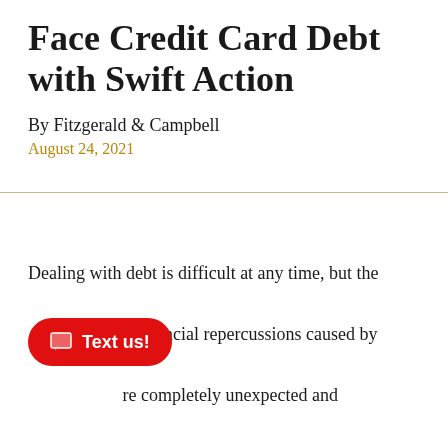Face Credit Card Debt with Swift Action
By Fitzgerald & Campbell
August 24, 2021
Dealing with debt is difficult at any time, but the financial repercussions caused by are completely unexpected and exceptionally difficult. Picking up steam quickly in the Spring of 2020, the worldwide pandemic not